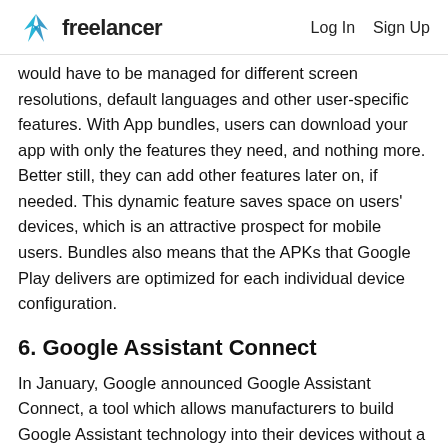freelancer  Log In  Sign Up
would have to be managed for different screen resolutions, default languages and other user-specific features. With App bundles, users can download your app with only the features they need, and nothing more. Better still, they can add other features later on, if needed. This dynamic feature saves space on users’ devices, which is an attractive prospect for mobile users. Bundles also means that the APKs that Google Play delivers are optimized for each individual device configuration.
6. Google Assistant Connect
In January, Google announced Google Assistant Connect, a tool which allows manufacturers to build Google Assistant technology into their devices without a connection to Google’s cloud. It’s not quite clear yet how that will work,